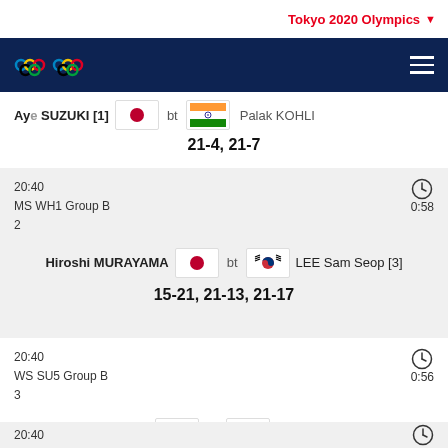Tokyo 2020 Olympics
Aye SUZUKI [1] bt Palak KOHLI
21-4, 21-7
20:40
MS WH1 Group B
2
0:58
Hiroshi MURAYAMA bt LEE Sam Seop [3]
15-21, 21-13, 21-17
20:40
WS SU5 Group B
3
0:56
Akiko SUGINO bt Kaede KAMEYAMA
20-22, 21-15, 21-16
20:40